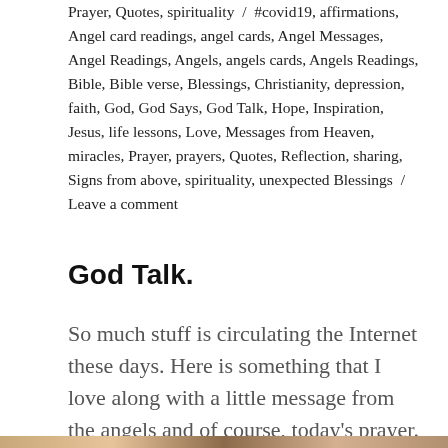Prayer, Quotes, spirituality / #covid19, affirmations, Angel card readings, angel cards, Angel Messages, Angel Readings, Angels, angels cards, Angels Readings, Bible, Bible verse, Blessings, Christianity, depression, faith, God, God Says, God Talk, Hope, Inspiration, Jesus, life lessons, Love, Messages from Heaven, miracles, Prayer, prayers, Quotes, Reflection, sharing, Signs from above, spirituality, unexpected Blessings / Leave a comment
God Talk.
So much stuff is circulating the Internet these days. Here is something that I love along with a little message from the angels and of course, today's prayer.
[Figure (photo): Partial view of an image strip at the bottom of the page showing warm earth tones]